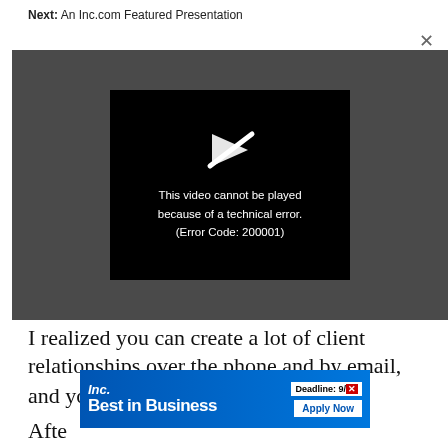Next: An Inc.com Featured Presentation
[Figure (screenshot): A video player showing an error message on a dark gray background. In the center is a black box with a play icon (with a line through it) and text reading: 'This video cannot be played because of a technical error. (Error Code: 200001)']
I realized you can create a lot of client relationships over the phone and by email, and you can sustain that," she says.
[Figure (infographic): Inc. Best in Business advertisement banner with blue gradient background. Shows 'Inc.' logo, 'Best in Business' text, 'Deadline: 9/' and 'Apply Now' button.]
Afte